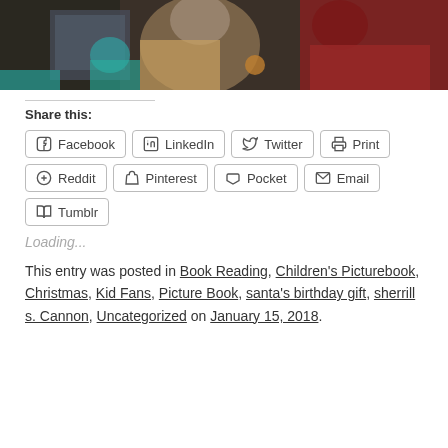[Figure (photo): Photograph showing people in colorful clothing, partially cropped at top]
Share this:
Facebook  LinkedIn  Twitter  Print  Reddit  Pinterest  Pocket  Email  Tumblr
Loading...
This entry was posted in Book Reading, Children's Picturebook, Christmas, Kid Fans, Picture Book, santa's birthday gift, sherrill s. Cannon, Uncategorized on January 15, 2018.